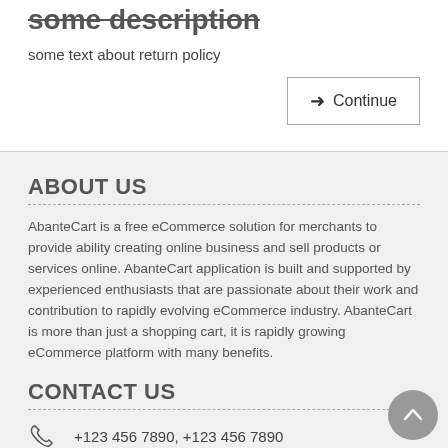some description
some text about return policy
→ Continue
ABOUT US
AbanteCart is a free eCommerce solution for merchants to provide ability creating online business and sell products or services online. AbanteCart application is built and supported by experienced enthusiasts that are passionate about their work and contribution to rapidly evolving eCommerce industry. AbanteCart is more than just a shopping cart, it is rapidly growing eCommerce platform with many benefits.
CONTACT US
+123 456 7890, +123 456 7890